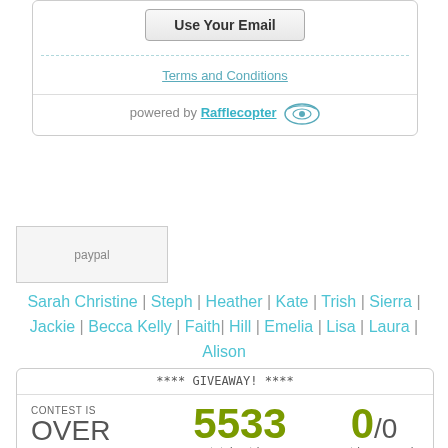[Figure (screenshot): Rafflecopter widget top section with 'Use Your Email' button, dashed separator, Terms and Conditions link, and 'powered by Rafflecopter' footer]
[Figure (other): PayPal logo image placeholder]
Sarah Christine | Steph | Heather | Kate | Trish | Sierra | Jackie | Becca Kelly | Faith | Hill | Emelia | Lisa | Laura | Alison
[Figure (screenshot): Rafflecopter giveaway widget showing **** GIVEAWAY! ****, CONTEST IS OVER, 5533 total entries, 0/0 entries earned, $125 PayPal Cash prize]